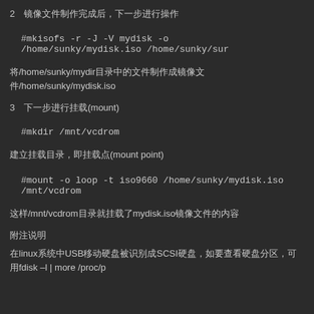2　镜像文件制作完成后，下一步进行操作
#mkisofs -r -J -V mydisk -o /home/sunky/mydisk.iso /home/sunky/mydir
将/home/sunky/mydir目录中的文件制作成镜像文件/home/sunky/mydisk.iso
3　下一步进行挂载(mount)
#mkdir /mnt/vcdrom
建立挂载目录，即挂载点(mount point)
#mount -o loop -t iso9660 /home/sunky/mydisk.iso /mnt/vcdrom
这样/mnt/vcdrom目录就挂载了mydisk.iso镜像文件的内容
附注说明
在linux系统中USB移动硬盘被识别成SCSI硬盘，如要查看硬盘分区，可用fdisk –l | more /proc/p